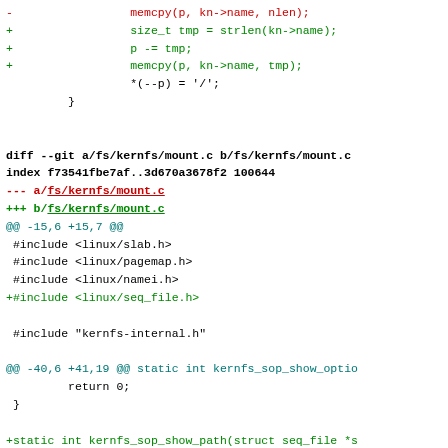Code diff showing changes to fs/kernfs files including mount.c, with additions of size_t tmp, p -= tmp, memcpy calls, and new kernfs_sop_show_path function